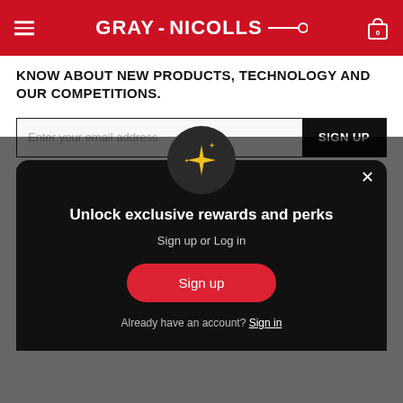GRAY-NICOLLS
KNOW ABOUT NEW PRODUCTS, TECHNOLOGY AND OUR COMPETITIONS.
Enter your email address  SIGN UP
By signing up you give Gray Nicolls permission to email you from time to
[Figure (screenshot): Modal popup on dark overlay showing sparkle icon, 'Unlock exclusive rewards and perks' heading, 'Sign up or Log in' subtitle, a red 'Sign up' button, and 'Already have an account? Sign in' link]
Unlock exclusive rewards and perks
Sign up or Log in
Sign up
Already have an account? Sign in